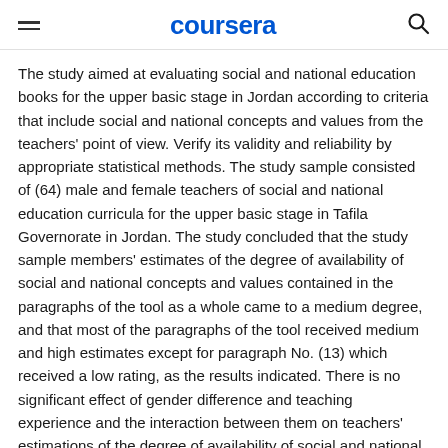coursera
The study aimed at evaluating social and national education books for the upper basic stage in Jordan according to criteria that include social and national concepts and values from the teachers' point of view. Verify its validity and reliability by appropriate statistical methods. The study sample consisted of (64) male and female teachers of social and national education curricula for the upper basic stage in Tafila Governorate in Jordan. The study concluded that the study sample members' estimates of the degree of availability of social and national concepts and values contained in the paragraphs of the tool as a whole came to a medium degree, and that most of the paragraphs of the tool received medium and high estimates except for paragraph No. (13) which received a low rating, as the results indicated. There is no significant effect of gender difference and teaching experience and the interaction between them on teachers' estimations of the degree of availability of social and national concepts and values in the content of social